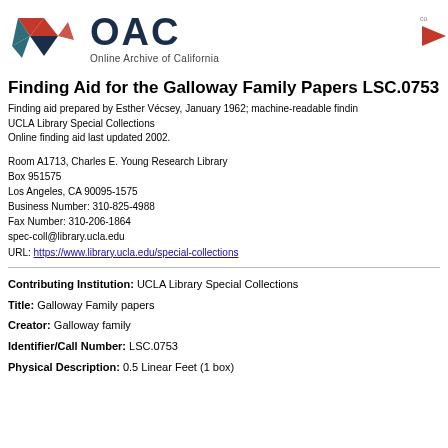[Figure (logo): OAC Online Archive of California logo with geometric diamond/arrow shapes in red, dark blue, and teal, followed by large bold OAC text and subtitle 'Online Archive of California']
Finding Aid for the Galloway Family Papers LSC.0753
Finding aid prepared by Esther Vécsey, January 1962; machine-readable finding
UCLA Library Special Collections
Online finding aid last updated 2002.
Room A1713, Charles E. Young Research Library
Box 951575
Los Angeles, CA 90095-1575
Business Number: 310-825-4988
Fax Number: 310-206-1864
spec-coll@library.ucla.edu
URL: https://www.library.ucla.edu/special-collections
Contributing Institution: UCLA Library Special Collections
Title: Galloway Family papers
Creator: Galloway family
Identifier/Call Number: LSC.0753
Physical Description: 0.5 Linear Feet (1 box)